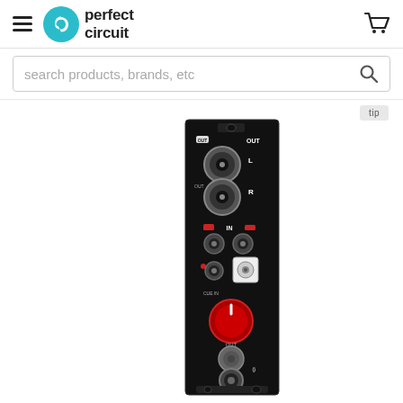[Figure (logo): Perfect Circuit logo with teal circular arrow icon and brand name in bold black text]
[Figure (screenshot): Search bar with placeholder text 'search products, brands, etc' and magnifying glass icon]
[Figure (photo): Eurorack audio module with black panel, OUT label at top with two large jack connectors (L/R), IN section with two smaller jacks, a BNC connector, red OUT knob, grey headphone volume knob, headphone jack at bottom, and small LED indicators]